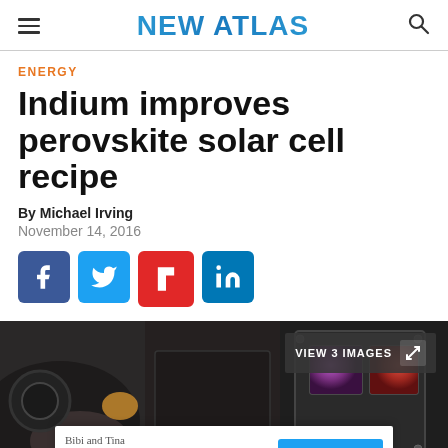NEW ATLAS
ENERGY
Indium improves perovskite solar cell recipe
By Michael Irving
November 14, 2016
[Figure (photo): Close-up photo of a perovskite solar cell device with purple/red colored cell samples visible on a dark mechanical apparatus]
VIEW 3 IMAGES
Bibi and Tina
Ribi and Tina - YouTube
SUBSCRIBE